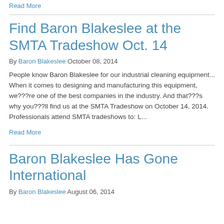Read More
Find Baron Blakeslee at the SMTA Tradeshow Oct. 14
By Baron Blakeslee October 08, 2014
People know Baron Blakeslee for our industrial cleaning equipment... When it comes to designing and manufacturing this equipment, we???re one of the best companies in the industry. And that???s why you???ll find us at the SMTA Tradeshow on October 14, 2014. Professionals attend SMTA tradeshows to: L...
Read More
Baron Blakeslee Has Gone International
By Baron Blakeslee August 06, 2014